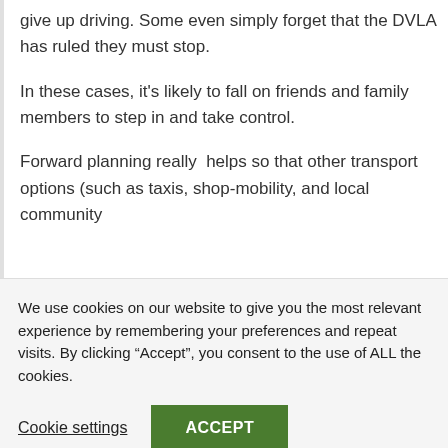give up driving. Some even simply forget that the DVLA has ruled they must stop.
In these cases, it's likely to fall on friends and family members to step in and take control.
Forward planning really  helps so that other transport options (such as taxis, shop-mobility, and local community
We use cookies on our website to give you the most relevant experience by remembering your preferences and repeat visits. By clicking “Accept”, you consent to the use of ALL the cookies.
Cookie settings
ACCEPT